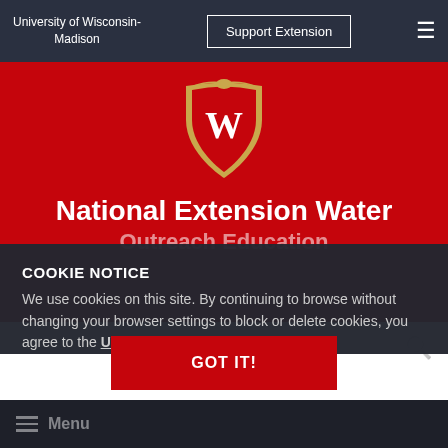University of Wisconsin-Madison | Support Extension
[Figure (logo): University of Wisconsin-Madison W crest/shield logo in gold and red]
National Extension Water Outreach Education
Division of Extension
COOKIE NOTICE
We use cookies on this site. By continuing to browse without changing your browser settings to block or delete cookies, you agree to the UW - Madison Privacy Notice.
GOT IT!
Menu